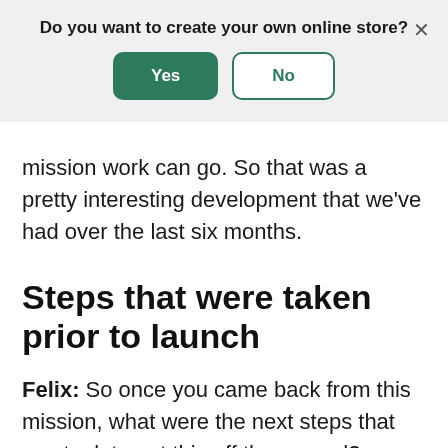[Figure (screenshot): Modal dialog overlay with question 'Do you want to create your own online store?' with Yes (green filled) and No (green outlined) buttons, and an X close button]
mission work can go. So that was a pretty interesting development that we've had over the last six months.
Steps that were taken prior to launch
Felix: So once you came back from this mission, what were the next steps that you took to get this off the ground?